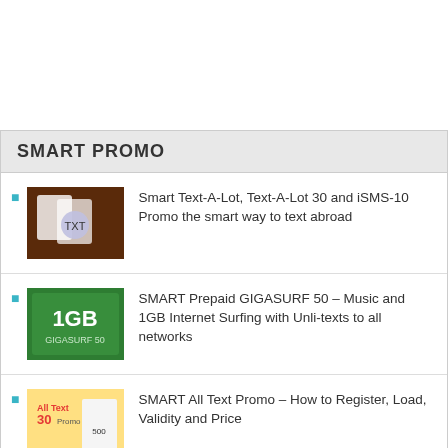SMART PROMO
Smart Text-A-Lot, Text-A-Lot 30 and iSMS-10 Promo the smart way to text abroad
SMART Prepaid GIGASURF 50 – Music and 1GB Internet Surfing with Unli-texts to all networks
SMART All Text Promo – How to Register, Load, Validity and Price
Smart Prepaid Unli Call & Text Promos
SMART Postpaid Unli Text Plan 349 with FREE Lenovo A390 or Alcatel Inspire 2